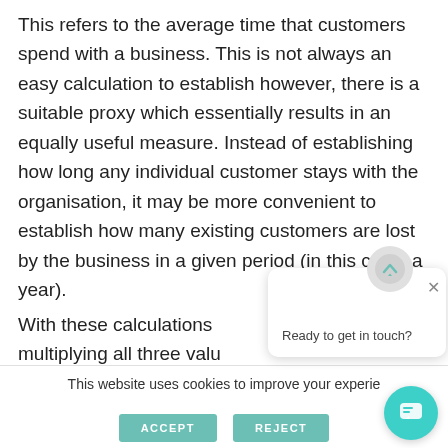This refers to the average time that customers spend with a business. This is not always an easy calculation to establish however, there is a suitable proxy which essentially results in an equally useful measure. Instead of establishing how long any individual customer stays with the organisation, it may be more convenient to establish how many existing customers are lost by the business in a given period (in this case, a year).
With these calculations [obscured] multiplying all three valu[es obscured]
Ready to get in touch?
This website uses cookies to improve your experie[nce]